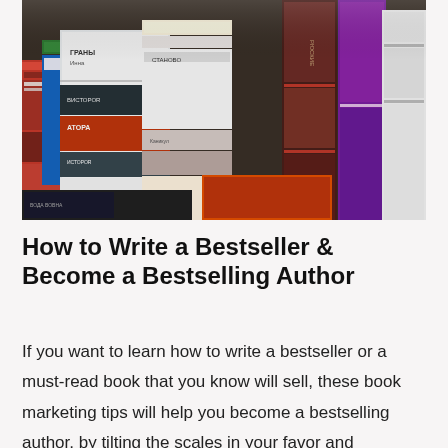[Figure (photo): Stacks of books piled on a surface, with various book covers visible in Cyrillic and other scripts, photographed from a slightly elevated angle.]
How to Write a Bestseller & Become a Bestselling Author
If you want to learn how to write a bestseller or a must-read book that you know will sell, these book marketing tips will help you become a bestselling author, by tilting the scales in your favor and